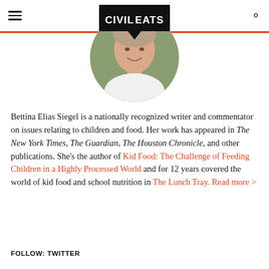CIVIL EATS
[Figure (photo): Circular portrait photo of Bettina Elias Siegel, a woman smiling outdoors, with the Civil Eats logo (speech-bubble style black banner with white bold text) overlaid on the top portion]
Bettina Elias Siegel is a nationally recognized writer and commentator on issues relating to children and food. Her work has appeared in The New York Times, The Guardian, The Houston Chronicle, and other publications. She's the author of Kid Food: The Challenge of Feeding Children in a Highly Processed World and for 12 years covered the world of kid food and school nutrition in The Lunch Tray. Read more >
FOLLOW: TWITTER